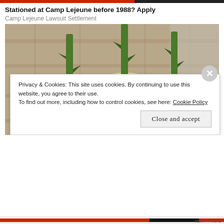Stationed at Camp Lejeune before 1988? Apply
Camp Lejeune Lawsuit Settlement
[Figure (photo): Three round yellowish potatoes each with a green thorny rose stem stuck into the top, resting on a wooden surface outdoors.]
Privacy & Cookies: This site uses cookies. By continuing to use this website, you agree to their use.
To find out more, including how to control cookies, see here: Cookie Policy
Close and accept